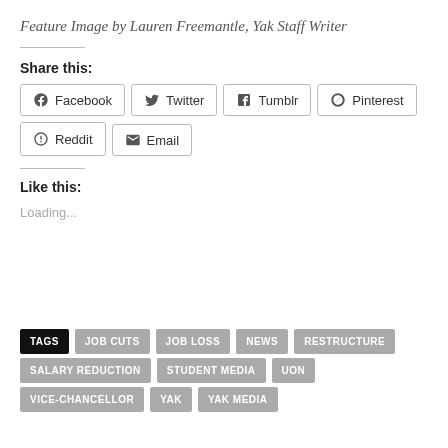Feature Image by Lauren Freemantle, Yak Staff Writer
Share this:
Facebook  Twitter  Tumblr  Pinterest  Reddit  Email
Like this:
Loading...
TAGS  JOB CUTS  JOB LOSS  NEWS  RESTRUCTURE  SALARY REDUCTION  STUDENT MEDIA  UON  VICE-CHANCELLOR  YAK  YAK MEDIA